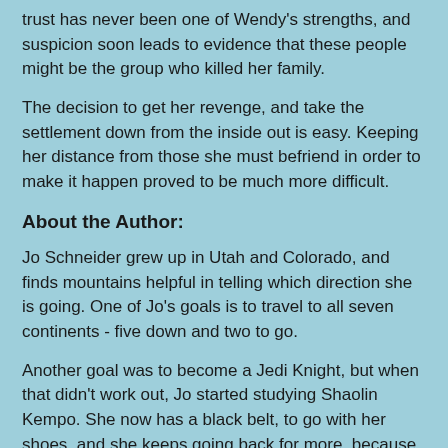trust has never been one of Wendy's strengths, and suspicion soon leads to evidence that these people might be the group who killed her family.
The decision to get her revenge, and take the settlement down from the inside out is easy. Keeping her distance from those she must befriend in order to make it happen proved to be much more difficult.
About the Author:
Jo Schneider grew up in Utah and Colorado, and finds mountains helpful in telling which direction she is going. One of Jo's goals is to travel to all seven continents - five down and two to go.
Another goal was to become a Jedi Knight, but when that didn't work out, Jo started studying Shaolin Kempo. She now has a black belt, to go with her shoes, and she keeps going back for more, because hitting things is fun. An intervention may be in order.